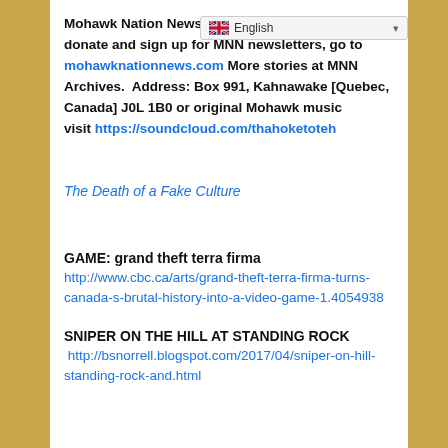Mohawk Nation News kahentine... more news, to donate and sign up for MNN newsletters, go to mohawknationnews.com More stories at MNN Archives.  Address: Box 991, Kahnawake [Quebec, Canada] J0L 1B0 or original Mohawk music visit https://soundcloud.com/thahoketoteh
The Death of a Fake Culture
GAME: grand theft terra firma
http://www.cbc.ca/arts/grand-theft-terra-firma-turns-canada-s-brutal-history-into-a-video-game-1.4054938
SNIPER ON THE HILL AT STANDING ROCK
http://bsnorrell.blogspot.com/2017/04/sniper-on-hill-standing-rock-and.html